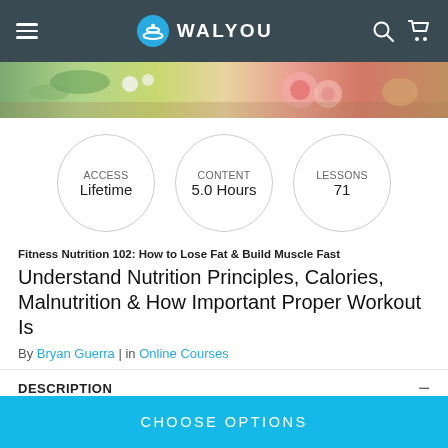WALYOU
[Figure (photo): Hero image strip showing colorful food items including radishes, flowers, greens on wooden surface]
ACCESS Lifetime | CONTENT 5.0 Hours | LESSONS 71
Fitness Nutrition 102: How to Lose Fat & Build Muscle Fast
Understand Nutrition Principles, Calories, Malnutrition & How Important Proper Workout Is
By Bryan Guerra | in Online Courses
DESCRIPTION
CHOOSE OPTIONS